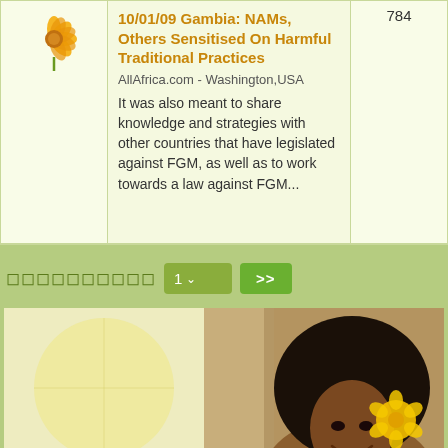| Image | Article | Count |
| --- | --- | --- |
| [flower image] | 10/01/09 Gambia: NAMs, Others Sensitised On Harmful Traditional Practices
AllAfrica.com - Washington,USA
It was also meant to share knowledge and strategies with other countries that have legislated against FGM, as well as to work towards a law against FGM... | 784 |
◻◻◻◻◻◻◻◻◻◻  1 ∨  >>
[Figure (photo): A smiling woman with a large natural afro hairstyle and a yellow flower in her hair, photographed from the shoulders up. To her left is a partial decorative image with yellow and cream tones.]